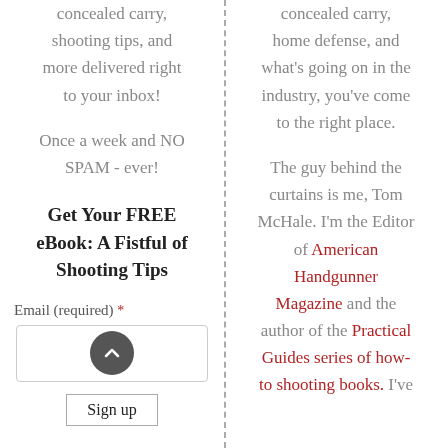concealed carry, shooting tips, and more delivered right to your inbox!
Once a week and NO SPAM - ever!
Get Your FREE eBook: A Fistful of Shooting Tips
Email (required) *
Sign up
concealed carry, home defense, and what's going on in the industry, you've come to the right place.
The guy behind the curtains is me, Tom McHale. I'm the Editor of American Handgunner Magazine and the author of the Practical Guides series of how-to shooting books. I've